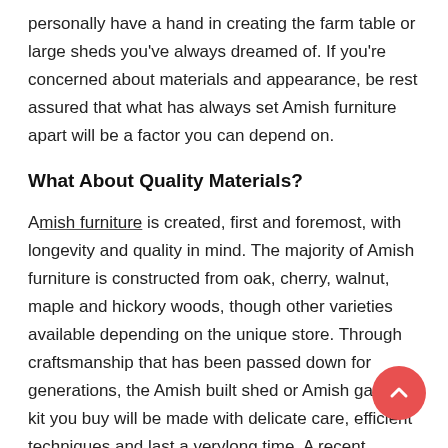personally have a hand in creating the farm table or large sheds you've always dreamed of. If you're concerned about materials and appearance, be rest assured that what has always set Amish furniture apart will be a factor you can depend on.
What About Quality Materials?
Amish furniture is created, first and foremost, with longevity and quality in mind. The majority of Amish furniture is constructed from oak, cherry, walnut, maple and hickory woods, though other varieties available depending on the unique store. Through craftsmanship that has been passed down for generations, the Amish built shed or Amish garage kit you buy will be made with delicate care, efficient techniques and last a verylong time. A recent survey found over 90% of